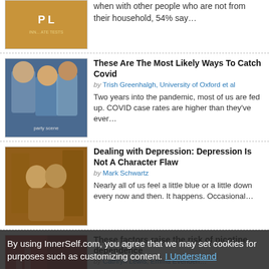when with other people who are not from their household, 54% say…
These Are The Most Likely Ways To Catch Covid
by Trish Greenhalgh, University of Oxford et al
Two years into the pandemic, most of us are fed up. COVID case rates are higher than they've ever…
Dealing with Depression: Depression Is Not A Character Flaw
by Mark Schwartz
Nearly all of us feel a little blue or a little down every now and then. It happens. Occasional…
These factors raise the risk of nicotine dependence
A new study uses genome-wide association studies for a range of different traits and disorders…
By using InnerSelf.com, you agree that we may set cookies for purposes such as customizing content. I Understand